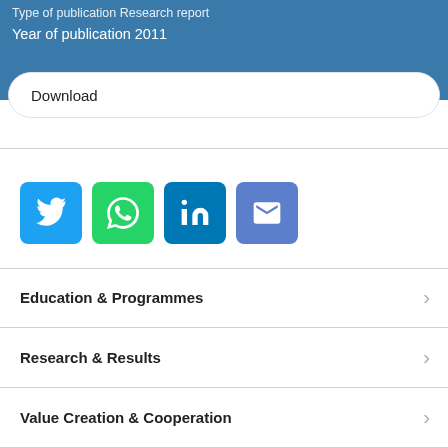Type of publication  Research report
Year of publication  2011
Download
[Figure (infographic): Four social sharing buttons: Twitter (blue), WhatsApp (green), LinkedIn (dark blue), Email (purple/blue)]
Education & Programmes
Research & Results
Value Creation & Cooperation